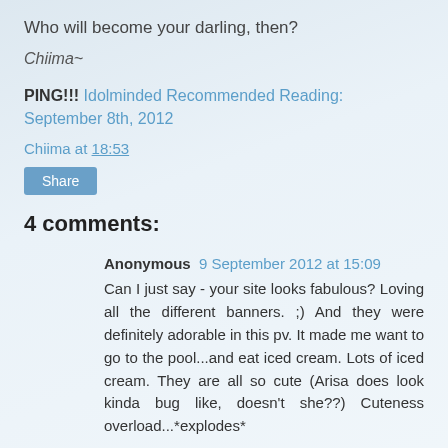Who will become your darling, then?
Chiima~
PING!!! Idolminded Recommended Reading: September 8th, 2012
Chiima at 18:53
Share
4 comments:
Anonymous 9 September 2012 at 15:09
Can I just say - your site looks fabulous? Loving all the different banners. ;) And they were definitely adorable in this pv. It made me want to go to the pool...and eat iced cream. Lots of iced cream. They are all so cute (Arisa does look kinda bug like, doesn't she??) Cuteness overload...*explodes*